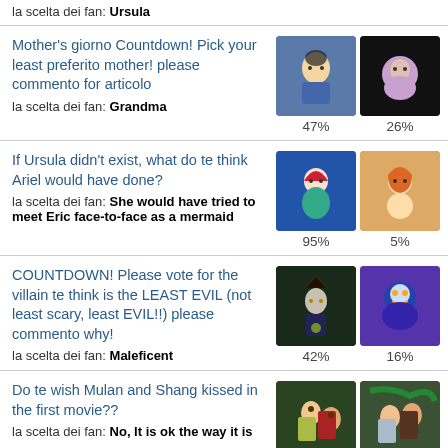la scelta dei fan: Ursula
Mother's giorno Countdown! Pick your least preferito mother! please commento for articolo
la scelta dei fan: Grandma
47% | 26%
If Ursula didn't exist, what do te think Ariel would have done?
la scelta dei fan: She would have tried to meet Eric face-to-face as a mermaid
95% | 5%
COUNTDOWN! Please vote for the villain te think is the LEAST EVIL (not least scary, least EVIL!!) please commento why!
la scelta dei fan: Maleficent
42% | 16%
Do te wish Mulan and Shang kissed in the first movie??
la scelta dei fan: No, It is ok the way it is
68% | 32%
COUNTDOWN! Please vote for the